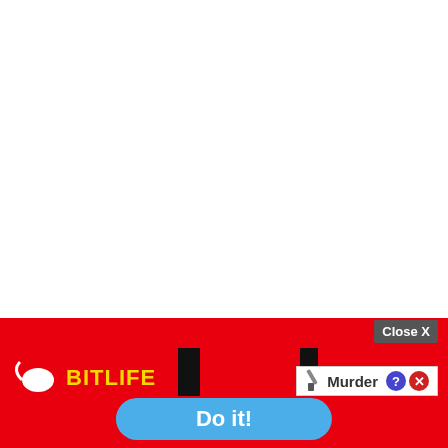News/Politics
5/16/2022, 10:02:37 AM
Justice orders the "provisional" reopening of the Dos... mosque
[Figure (screenshot): Mobile advertisement overlay: BitLife game ad with red background, sperm cell logo, yellow 'BitLife' text, 'Murder' option panel with knife icon, help and close buttons, blue 'Do it!' button, and gray 'Close X' button in top right corner.]